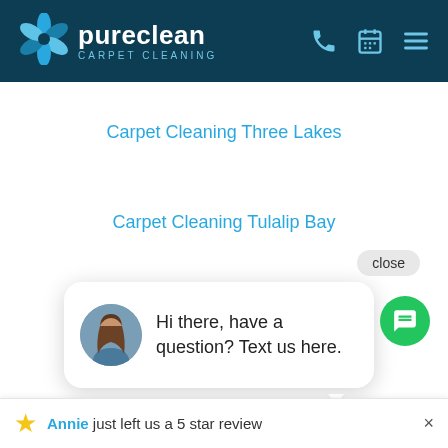[Figure (logo): PureClean Carpet Cleaning logo with blue swirl icon, white text 'pureclean', and light blue 'CARPET CLEANING' subtitle, on dark teal header with phone, calendar, and menu icons]
Carpet Cleaning Three Lakes
Carpet Cleaning Tulalip Bay
[Figure (screenshot): Chat widget popup with close button, avatar photo of a woman, and message 'Hi there, have a question? Text us here.']
Annie just left us a 5 star review